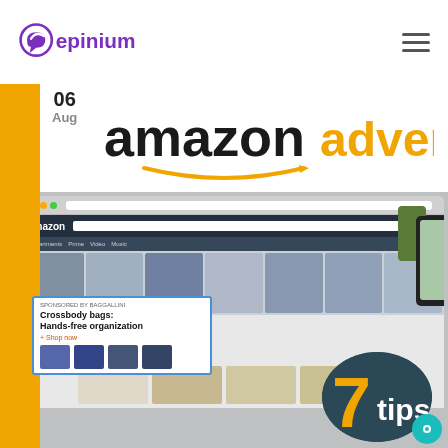epinium logo and navigation menu
[Figure (screenshot): Amazon Advertising banner with Amazon website screenshot showing sponsored crossbody bags ads, product listings, and a '7 tips' badge overlay. Date badge showing 06 Aug in top left corner.]